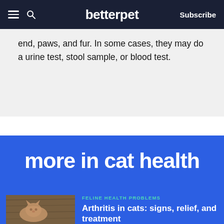betterpet | Subscribe
end, paws, and fur. In some cases, they may do a urine test, stool sample, or blood test.
more in cat health
FELINE HEALTH PROBLEMS
Arthritis in cats: signs, relief, and treatment